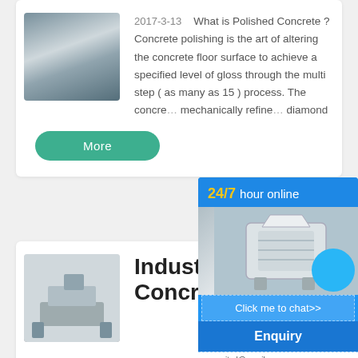[Figure (photo): Photo of crushed concrete/gravel material, grey tones]
2017-3-13   What is Polished Concrete ? Concrete polishing is the art of altering the concrete floor surface to achieve a specified level of gloss through the multi step ( as many as 15 ) process. The concre... mechanically refine... diamond
More
[Figure (photo): Photo of industrial concrete equipment / machinery on a light background]
Industrial D... Concrete C...
[Figure (infographic): Overlay chat widget: 24/7 hour online label, crusher machine image, blue circle, Click me to chat>> button, Enquiry button, email address partially visible]